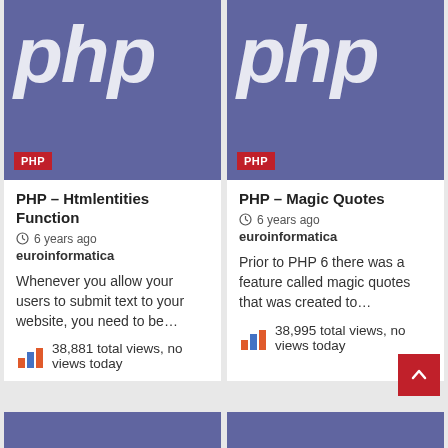[Figure (screenshot): PHP logo banner for left card — purple background with large italic white 'php' text and red PHP label badge]
PHP – Htmlentities Function
6 years ago
euroinformatica
Whenever you allow your users to submit text to your website, you need to be…
38,881 total views, no views today
[Figure (screenshot): PHP logo banner for right card — purple background with large italic white 'php' text and red PHP label badge]
PHP – Magic Quotes
6 years ago
euroinformatica
Prior to PHP 6 there was a feature called magic quotes that was created to…
38,995 total views, no views today